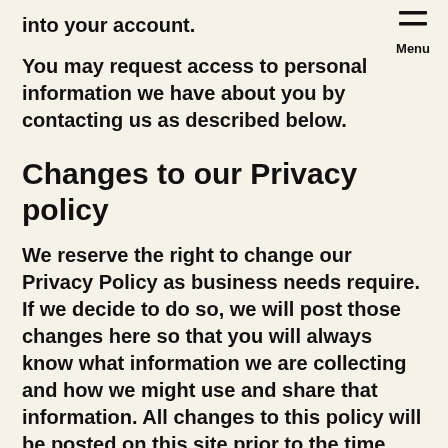into your account.
You may request access to personal information we have about you by contacting us as described below.
Changes to our Privacy policy
We reserve the right to change our Privacy Policy as business needs require. If we decide to do so, we will post those changes here so that you will always know what information we are collecting and how we might use and share that information. All changes to this policy will be posted on this site prior to the time they take effect.
If we make material changes to the way we use personal information, before